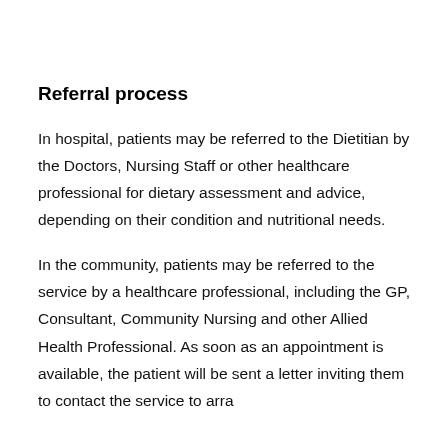Referral process
In hospital, patients may be referred to the Dietitian by the Doctors, Nursing Staff or other healthcare professional for dietary assessment and advice, depending on their condition and nutritional needs.
In the community, patients may be referred to the service by a healthcare professional, including the GP, Consultant, Community Nursing and other Allied Health Professional. As soon as an appointment is available, the patient will be sent a letter inviting them to contact the service to arra…
[Figure (illustration): Orange circular icon with a white ear/hearing symbol]